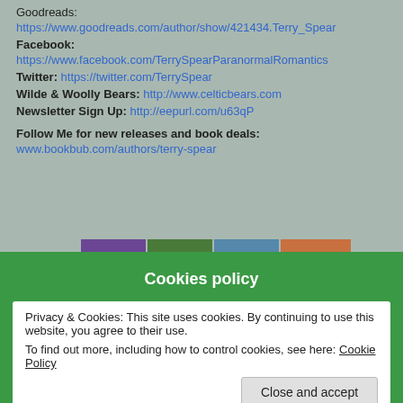Goodreads:
https://www.goodreads.com/author/show/421434.Terry_Spear
Facebook:
https://www.facebook.com/TerrySpearParanormalRomantics
Twitter: https://twitter.com/TerrySpear
Wilde & Woolly Bears: http://www.celticbears.com
Newsletter Sign Up: http://eepurl.com/u63qP
Follow Me for new releases and book deals:
www.bookbub.com/authors/terry-spear
[Figure (photo): Banner of four paranormal romance book covers]
Cookies policy
Privacy & Cookies: This site uses cookies. By continuing to use this website, you agree to their use.
To find out more, including how to control cookies, see here: Cookie Policy
Close and accept